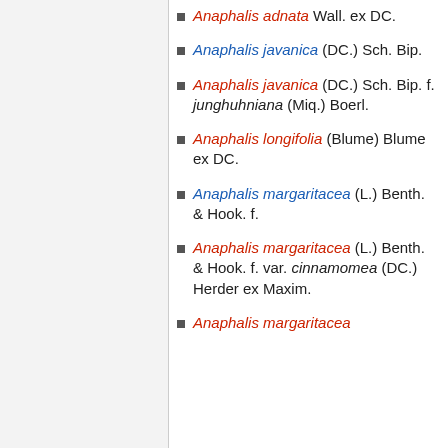Anaphalis adnata Wall. ex DC.
Anaphalis javanica (DC.) Sch. Bip.
Anaphalis javanica (DC.) Sch. Bip. f. junghuhniana (Miq.) Boerl.
Anaphalis longifolia (Blume) Blume ex DC.
Anaphalis margaritacea (L.) Benth. & Hook. f.
Anaphalis margaritacea (L.) Benth. & Hook. f. var. cinnamomea (DC.) Herder ex Maxim.
Anaphalis margaritacea